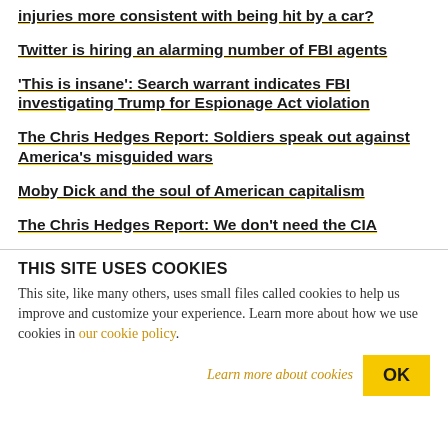injuries more consistent with being hit by a car?
Twitter is hiring an alarming number of FBI agents
'This is insane': Search warrant indicates FBI investigating Trump for Espionage Act violation
The Chris Hedges Report: Soldiers speak out against America's misguided wars
Moby Dick and the soul of American capitalism
The Chris Hedges Report: We don't need the CIA
THIS SITE USES COOKIES
This site, like many others, uses small files called cookies to help us improve and customize your experience. Learn more about how we use cookies in our cookie policy.
Learn more about cookies   OK